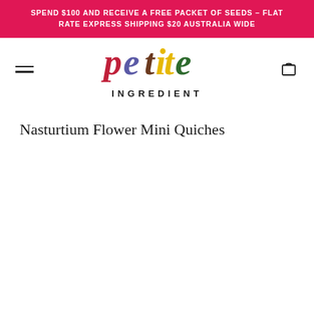SPEND $100 AND RECEIVE A FREE PACKET OF SEEDS - FLAT RATE EXPRESS SHIPPING $20 AUSTRALIA WIDE
[Figure (logo): Petite Ingredient logo — colorful lettering spelling 'petite' made from flowers and herbs, with 'INGREDIENT' in bold uppercase below]
Nasturtium Flower Mini Quiches